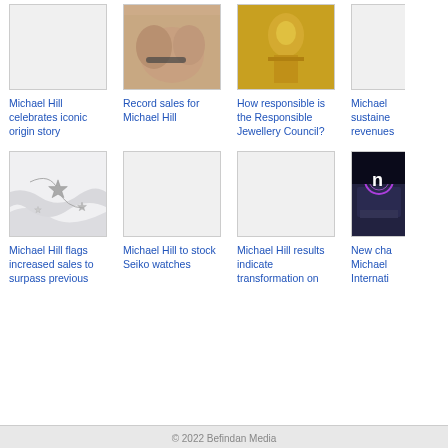[Figure (photo): White/blank image placeholder - top row card 1]
Michael Hill celebrates iconic origin story
[Figure (photo): Close-up of hands wearing a bracelet]
Record sales for Michael Hill
[Figure (photo): Gold jewelry/Oscar-like statue]
How responsible is the Responsible Jewellery Council?
[Figure (photo): Partially visible - top row card 4 (cropped)]
Michael sustaine revenues
[Figure (photo): Silver star/snowflake necklace on white fabric]
Michael Hill flags increased sales to surpass previous
[Figure (photo): White/blank image placeholder - bottom row card 2]
Michael Hill to stock Seiko watches
[Figure (photo): White/blank image placeholder - bottom row card 3]
Michael Hill results indicate transformation on
[Figure (photo): Partially visible store front at night with neon sign]
New cha Michael Internati
© 2022 Befindan Media